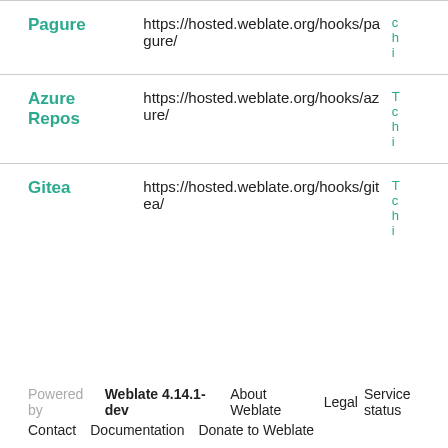| Service | URL | Info |
| --- | --- | --- |
| Pagure | https://hosted.weblate.org/hooks/pagure/ |  |
| Azure Repos | https://hosted.weblate.org/hooks/azure/ |  |
| Gitea | https://hosted.weblate.org/hooks/gitea/ |  |
Powered by Weblate 4.14.1-dev  About Weblate  Legal  Service status  Contact  Documentation  Donate to Weblate